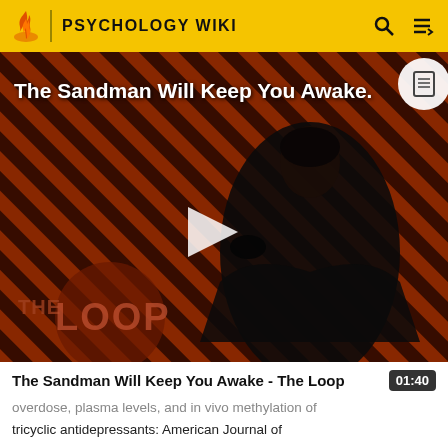PSYCHOLOGY WIKI
[Figure (screenshot): Video thumbnail showing a dark-robed figure with a crow against a diagonal red-and-black striped background. Title text reads 'The Sandman Will Keep You Awake.' with 'THE LOOP' watermark at bottom left. A play button triangle is centered on the image.]
The Sandman Will Keep You Awake - The Loop
overdose, plasma levels, and in vivo methylation of tricyclic antidepressants: American Journal of Psychiatry Vol 138(7) Jul 1981, 982-983.
Rush, A. J., Weissenburger, J., Vasavada, N., Orsulak,